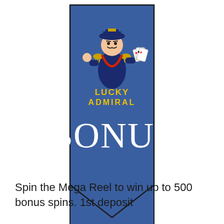[Figure (illustration): Lucky Admiral casino logo and bonus banner. A blue ribbon/bookmark shape with a pointed chevron bottom, containing a cartoon naval admiral character holding playing cards and giving a thumbs up, with the text 'LUCKY ADMIRAL' in gold/yellow lettering, and the word 'BONUS' in large white letters below.]
Spin the Mega Reel to win up to 500 bonus spins. 1st deposit